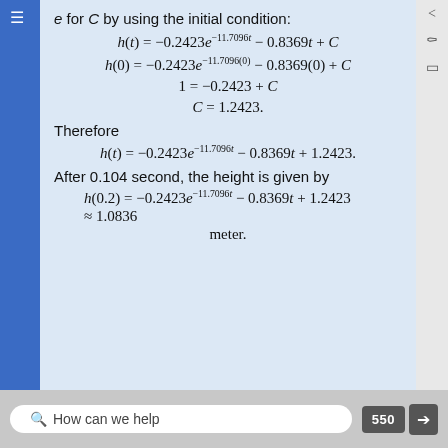for C by using the initial condition:
Therefore
After 0.104 second, the height is given by